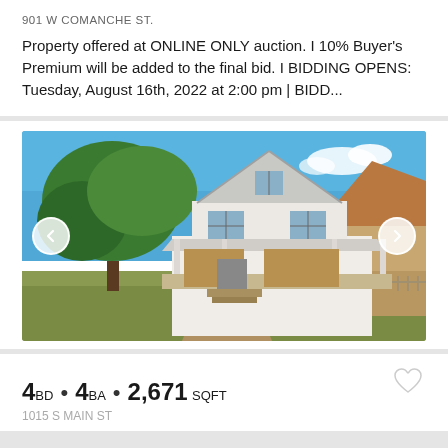901 W COMANCHE ST.
Property offered at ONLINE ONLY auction. | 10% Buyer's Premium will be added to the final bid. | BIDDING OPENS: Tuesday, August 16th, 2022 at 2:00 pm | BIDD...
[Figure (photo): Exterior photo of a two-story white wood-frame house with a covered front porch, boarded-up windows, surrounded by trees and overgrown yard. A neighboring house with a brown roof is visible on the right. Navigation arrows on left and right sides of the image.]
4BD • 4BA • 2,671 SQFT
1015 S MAIN ST